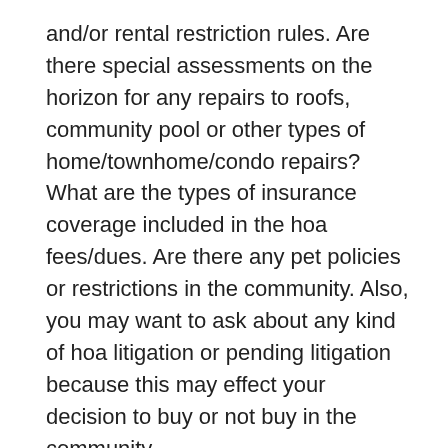and/or rental restriction rules. Are there special assessments on the horizon for any repairs to roofs, community pool or other types of home/townhome/condo repairs? What are the types of insurance coverage included in the hoa fees/dues. Are there any pet policies or restrictions in the community. Also, you may want to ask about any kind of hoa litigation or pending litigation because this may effect your decision to buy or not buy in the community.
You may want to research the hoa documents, disclosures and neighbors if possible. Once you move into your community you may want to become an active board member and attend meetings, etc.
Also, if you would like to add information to the Stonegate Mews homeowners association listing